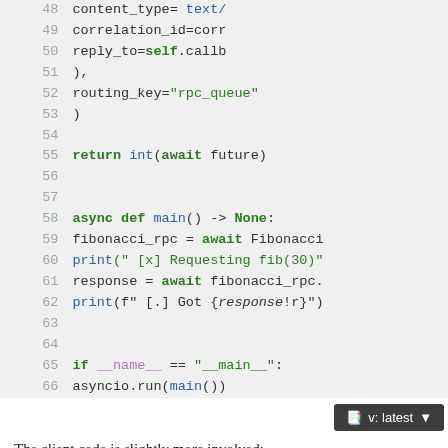[Figure (screenshot): Python code snippet showing lines 48-66 with async def main() function, fibonacci_rpc usage, print statements, and if __name__ == '__main__': block on a light gray background]
The client code is slightly more involved:
15. We establish a connection, channel and declare an exclu...